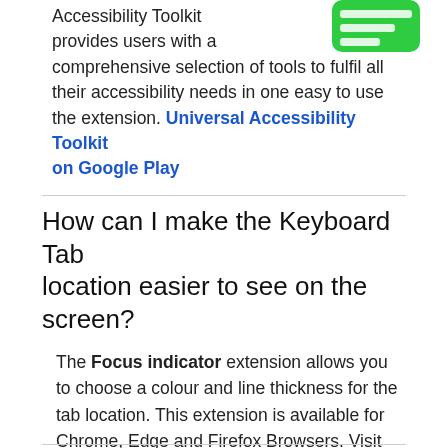Accessibility Toolkit provides users with a comprehensive selection of tools to fulfil all their accessibility needs in one easy to use the extension. Universal Accessibility Toolkit on Google Play
[Figure (logo): Green rounded rectangle logo / icon for Universal Accessibility Toolkit]
How can I make the Keyboard Tab location easier to see on the screen?
The Focus indicator extension allows you to choose a colour and line thickness for the tab location. This extension is available for Chrome, Edge and Firefox Browsers. Visit the Chrome Webstore Focus Indicator Link